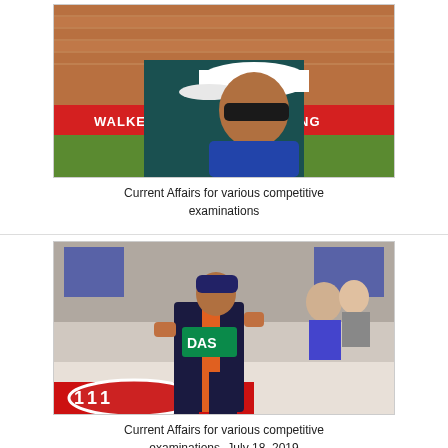[Figure (photo): A cricket player or sportsman wearing a white cap at a stadium, with sponsor banners visible including 'WALKER' and 'KING' in background.]
Current Affairs for various competitive examinations
[Figure (photo): An athlete wearing 'DAS' jersey sprinting on a track, spectators visible in the background, with a red sponsor banner at the bottom.]
Current Affairs for various competitive examinations- July 18, 2019